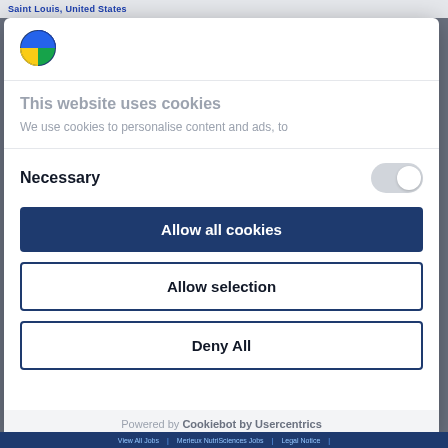Saint Louis, United States
[Figure (logo): Circular logo with blue and yellow/green sections, company branding]
This website uses cookies
We use cookies to personalise content and ads, to
Necessary
Allow all cookies
Allow selection
Deny All
Powered by Cookiebot by Usercentrics
View All Jobs | Merieux NutriSciences Jobs | Legal Notice |